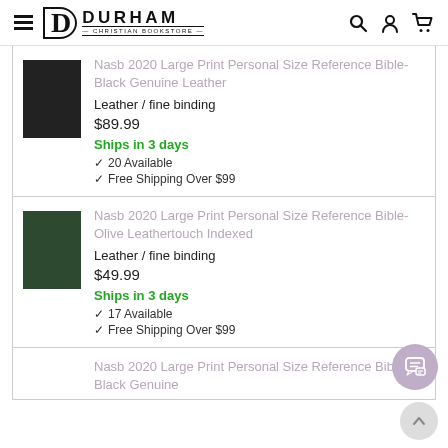Durham Christian Bookstore
Nasb 2020 Large Print Personal Size Reference Bible-Black Genuine Leather
Leather / fine binding
$89.99
Ships in 3 days
✔ 20 Available
✔ Free Shipping Over $99
Nasb 2020 Large Print Personal Size Reference Bible-Olive Leathertouch Indexed
Leather / fine binding
$49.99
Ships in 3 days
✔ 17 Available
✔ Free Shipping Over $99
Nasb 2020 Large Print Personal Size Reference Bible-Black Genuine